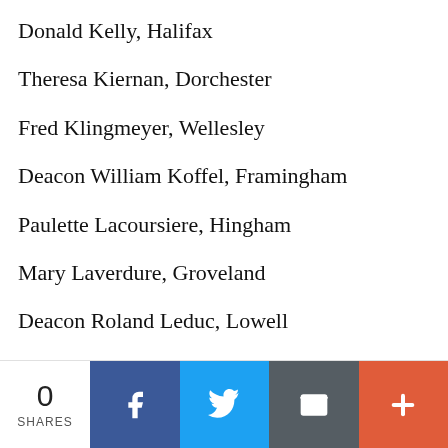Donald Kelly, Halifax
Theresa Kiernan, Dorchester
Fred Klingmeyer, Wellesley
Deacon William Koffel, Framingham
Paulette Lacoursiere, Hingham
Mary Laverdure, Groveland
Deacon Roland Leduc, Lowell
Janice Leonard, North Reading
Eveline Lima, Marlboro